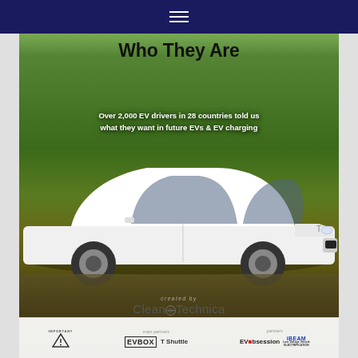navigation bar with hamburger menu
Who They Are
[Figure (photo): White Tesla Model S electric car parked on grass with trees in background]
Over 2,000 EV drivers in 28 countries told us what they want in future EVs & EV charging
created by CleanTechnica
main partners: EVBOX T Shuttle | partners: EVObsession iBEAM Low Voltage Vehicle Electrification